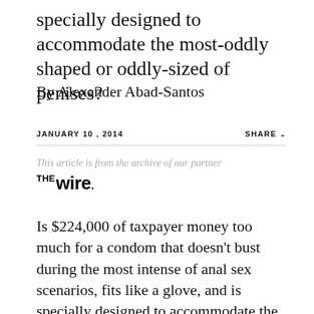specially designed to accommodate the most-oddly shaped or oddly-sized of penises?
By Alexander Abad-Santos
JANUARY 10, 2014    SHARE
This article is from the archive of our partner THE Wire.
Is $224,000 of taxpayer money too much for a condom that doesn't bust during the most intense of anal sex scenarios, fits like a glove, and is specially designed to accommodate the most-oddly shaped or oddly-sized of